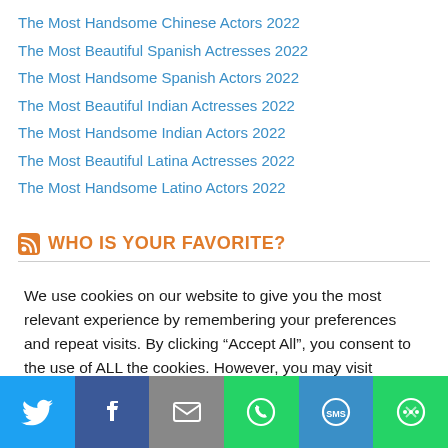The Most Handsome Chinese Actors 2022
The Most Beautiful Spanish Actresses 2022
The Most Handsome Spanish Actors 2022
The Most Beautiful Indian Actresses 2022
The Most Handsome Indian Actors 2022
The Most Beautiful Latina Actresses 2022
The Most Handsome Latino Actors 2022
WHO IS YOUR FAVORITE?
We use cookies on our website to give you the most relevant experience by remembering your preferences and repeat visits. By clicking “Accept All”, you consent to the use of ALL the cookies. However, you may visit "Cookie Settings" to provide a controlled consent.